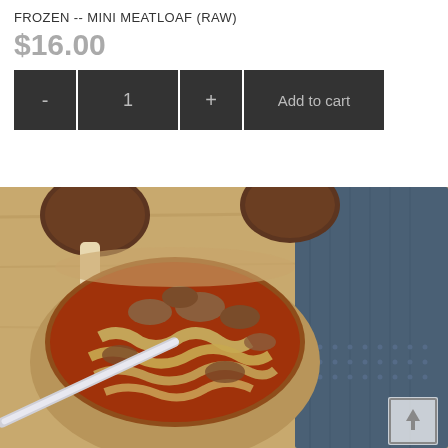FROZEN -- MINI MEATLOAF (RAW)
$16.00
[Figure (screenshot): E-commerce add-to-cart widget with minus button, quantity '1', plus button, and 'Add to cart' button, all on dark background]
[Figure (photo): A bowl of soup with meat, cabbage, and broth, with a spoon, mushrooms in the background, and a blue denim napkin on a wooden surface]